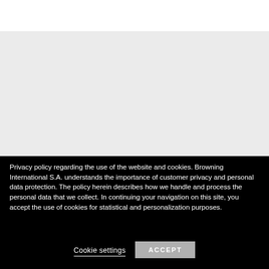[Figure (other): White top bar and gray/light background area above the cookie consent banner]
Privacy policy regarding the use of the website and cookies. Browning International S.A. understands the importance of customer privacy and personal data protection. The policy herein describes how we handle and process the personal data that we collect. In continuing your navigation on this site, you accept the use of cookies for statistical and personalization purposes.
Cookie settings
ACCEPT